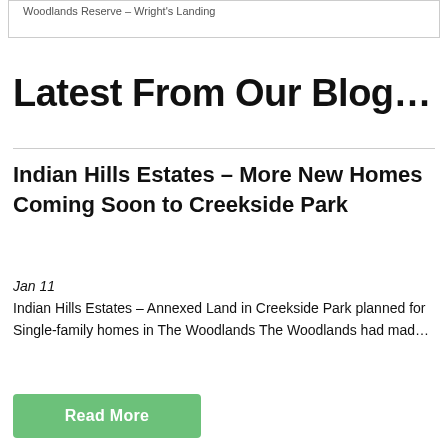Woodlands Reserve – Wright's Landing
Latest From Our Blog…
Indian Hills Estates – More New Homes Coming Soon to Creekside Park
Jan 11
Indian Hills Estates – Annexed Land in Creekside Park planned for Single-family homes in The Woodlands The Woodlands had mad…
Read More